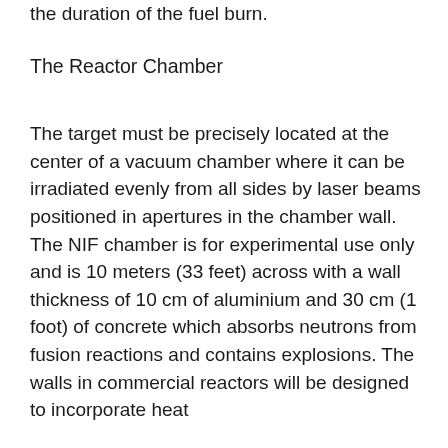the duration of the fuel burn.
The Reactor Chamber
The target must be precisely located at the center of a vacuum chamber where it can be irradiated evenly from all sides by laser beams positioned in apertures in the chamber wall. The NIF chamber is for experimental use only and is 10 meters (33 feet) across with a wall thickness of 10 cm of aluminium and 30 cm (1 foot) of concrete which absorbs neutrons from fusion reactions and contains explosions. The walls in commercial reactors will be designed to incorporate heat